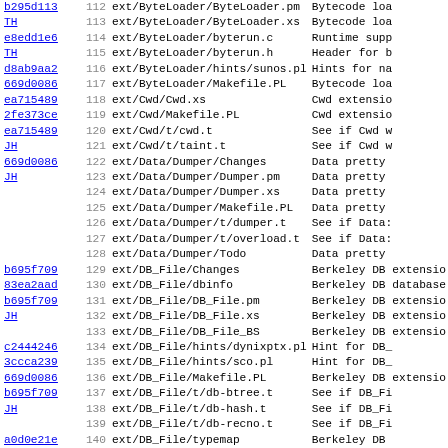| Hash | Line | Path | Description |
| --- | --- | --- | --- |
| b295d113 | 112 | ext/ByteLoader/ByteLoader.pm | Bytecode loa |
| TH | 113 | ext/ByteLoader/ByteLoader.xs | Bytecode loa |
| e8edd1e6 | 114 | ext/ByteLoader/byterun.c | Runtime supp |
| TH | 115 | ext/ByteLoader/byterun.h | Header for b |
| d8ab9aa2 | 116 | ext/ByteLoader/hints/sunos.pl | Hints for na |
| 669d0086 | 117 | ext/ByteLoader/Makefile.PL | Bytecode loa |
| ea715489 | 118 | ext/Cwd/Cwd.xs | Cwd extensio |
| 2fe373ce | 119 | ext/Cwd/Makefile.PL | Cwd extensio |
| ea715489 | 120 | ext/Cwd/t/cwd.t | See if Cwd w |
| JH | 121 | ext/Cwd/t/taint.t | See if Cwd w |
| 669d0086 | 122 | ext/Data/Dumper/Changes | Data pretty |
| JH | 123 | ext/Data/Dumper/Dumper.pm | Data pretty |
|  | 124 | ext/Data/Dumper/Dumper.xs | Data pretty |
|  | 125 | ext/Data/Dumper/Makefile.PL | Data pretty |
|  | 126 | ext/Data/Dumper/t/dumper.t | See if Data: |
|  | 127 | ext/Data/Dumper/t/overload.t | See if Data: |
|  | 128 | ext/Data/Dumper/Todo | Data pretty |
| b695f709 | 129 | ext/DB_File/Changes | Berkeley DB extensio |
| 83ea2aad | 130 | ext/DB_File/dbinfo | Berkeley DB database |
| b695f709 | 131 | ext/DB_File/DB_File.pm | Berkeley DB extensio |
| JH | 132 | ext/DB_File/DB_File.xs | Berkeley DB extensio |
|  | 133 | ext/DB_File/DB_File_BS | Berkeley DB extensio |
| c2444246 | 134 | ext/DB_File/hints/dynixptx.pl | Hint for DB_ |
| 3ccca239 | 135 | ext/DB_File/hints/sco.pl | Hint for DB_ |
| 669d0086 | 136 | ext/DB_File/Makefile.PL | Berkeley DB extensio |
| b695f709 | 137 | ext/DB_File/t/db-btree.t | See if DB_Fi |
| JH | 138 | ext/DB_File/t/db-hash.t | See if DB_Fi |
|  | 139 | ext/DB_File/t/db-recno.t | See if DB_Fi |
| a0d0e21e | 140 | ext/DB_File/typemap | Berkeley DB |
| 039d031f | 141 | ext/DB_File/version.c | Berkeley DB |
| 38b3a85b | 142 | ext/Devel/DProf/Changes | Perl code pr |
| GS | 143 | ext/Devel/DProf/DProf.pm | Perl code pr |
| 5f50088 | 144 | ext/Devel/DProf/DProf.t | Perl code pr |